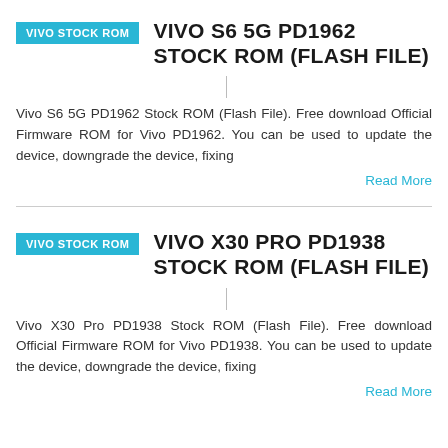[Figure (logo): Cyan badge with white bold text reading VIVO STOCK ROM]
VIVO S6 5G PD1962 STOCK ROM (FLASH FILE)
Vivo S6 5G PD1962 Stock ROM (Flash File). Free download Official Firmware ROM for Vivo PD1962. You can be used to update the device, downgrade the device, fixing
Read More
[Figure (logo): Cyan badge with white bold text reading VIVO STOCK ROM]
VIVO X30 PRO PD1938 STOCK ROM (FLASH FILE)
Vivo X30 Pro PD1938 Stock ROM (Flash File). Free download Official Firmware ROM for Vivo PD1938. You can be used to update the device, downgrade the device, fixing
Read More